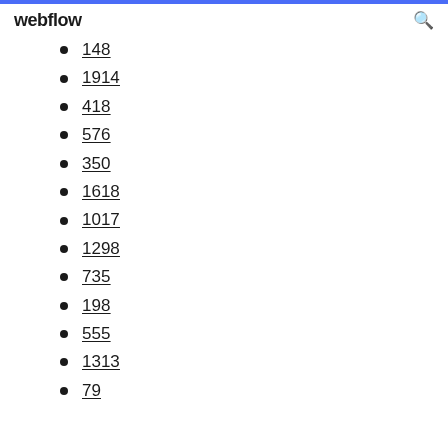webflow
148
1914
418
576
350
1618
1017
1298
735
198
555
1313
79